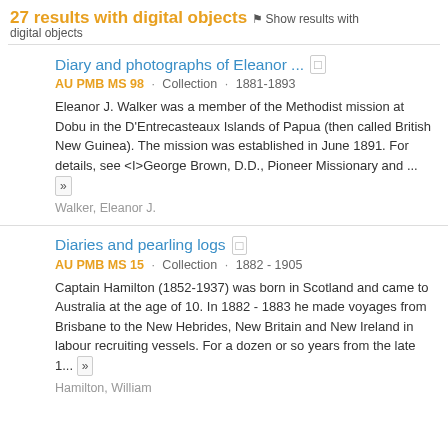27 results with digital objects  Show results with digital objects
Diary and photographs of Eleanor ...  AU PMB MS 98 · Collection · 1881-1893  Eleanor J. Walker was a member of the Methodist mission at Dobu in the D'Entrecasteaux Islands of Papua (then called British New Guinea). The mission was established in June 1891. For details, see <I>George Brown, D.D., Pioneer Missionary and ...  Walker, Eleanor J.
Diaries and pearling logs  AU PMB MS 15 · Collection · 1882 - 1905  Captain Hamilton (1852-1937) was born in Scotland and came to Australia at the age of 10. In 1882 - 1883 he made voyages from Brisbane to the New Hebrides, New Britain and New Ireland in labour recruiting vessels. For a dozen or so years from the late 1...  Hamilton, William